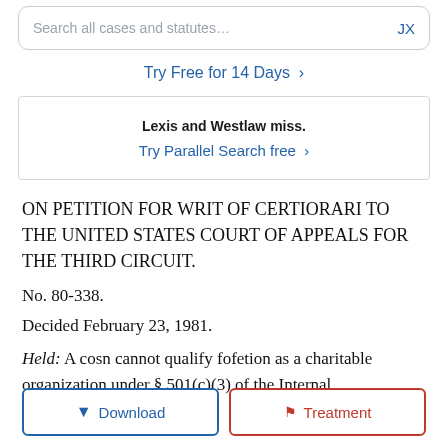Search all cases and statutes... JX
Try Free for 14 Days >
Lexis and Westlaw miss.
Try Parallel Search free >
ON PETITION FOR WRIT OF CERTIORARI TO THE UNITED STATES COURT OF APPEALS FOR THE THIRD CIRCUIT.
No. 80-338.
Decided February 23, 1981.
Held: A commercial hospital service organization cannot qualify for tax exemption as a fe... organization as a charitable organization under § 501(c)(3) of the Internal